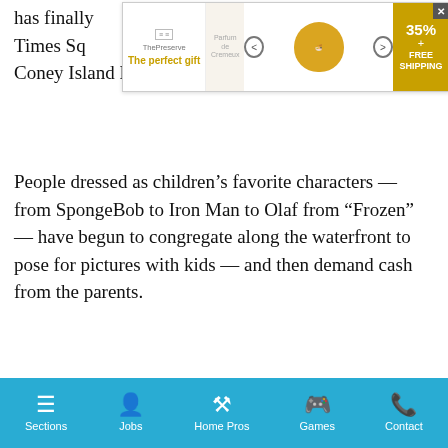[Figure (screenshot): Advertisement banner for 'The perfect gift' showing parfum bottle, navigation arrows, bowl image, 35% discount and FREE SHIPPING offer with close button]
has finally ... of Times Square ... the Coney Island Boardwalk.
People dressed as children's favorite characters — from SpongeBob to Iron Man to Olaf from “Frozen” — have begun to congregate along the waterfront to pose for pictures with kids — and then demand cash from the parents.
Locals are not at all happy to see the photo-op phenomenon metastasize from the crossroads of the world to Sodom on the Sea.
“I think they should stay away from here,” said Fernando Delvalle, a weekly visitor to the Boardwalk. “Leave that in Times Square.”
Another Coney Island regular said the invasion would destroy the
Sections   Jobs   Home Pros   Games   Contact